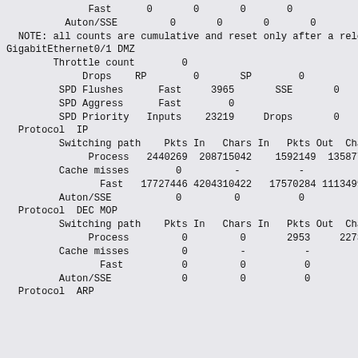Fast      0       0       0       0
    Auton/SSE         0       0       0       0
NOTE: all counts are cumulative and reset only after a reload.
GigabitEthernet0/1 DMZ
Throttle count        0
         Drops    RP        0       SP        0
         SPD Flushes      Fast     3965       SSE       0
         SPD Aggress      Fast        0
         SPD Priority   Inputs    23219     Drops       0
Protocol  IP
         Switching path    Pkts In   Chars In   Pkts Out  Chars Out
              Process   2440269  208715042    1592149  135877631
         Cache misses        0         -          -          -
                Fast   17727446 4204310422   17570284 1113499249
         Auton/SSE           0         0          0          0
Protocol  DEC MOP
         Switching path    Pkts In   Chars In   Pkts Out  Chars Out
              Process         0         0       2953     227381
         Cache misses         0         -          -          -
                Fast          0         0          0          0
         Auton/SSE            0         0          0          0
Protocol  ARP